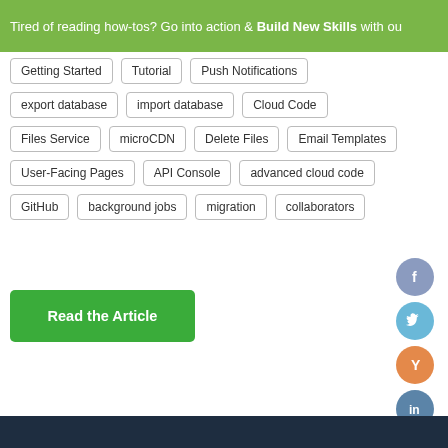Tired of reading how-tos? Go into action & Build New Skills with ou
Getting Started
Tutorial
Push Notifications
export database
import database
Cloud Code
Files Service
microCDN
Delete Files
Email Templates
User-Facing Pages
API Console
advanced cloud code
GitHub
background jobs
migration
collaborators
Read the Article
[Figure (other): Social media icon buttons for Facebook, Twitter, Y Combinator, and LinkedIn]